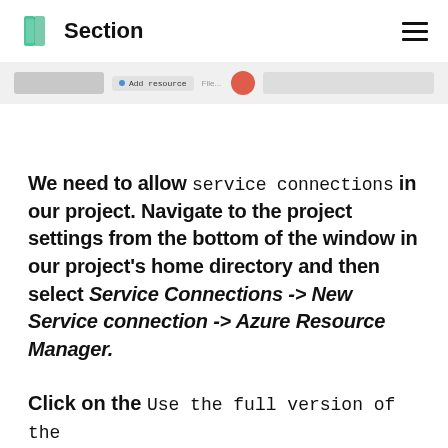Section
[Figure (screenshot): Partial screenshot of an Azure DevOps interface showing a navigation bar with a blue dot label, some text, a red circle icon, and a light gray box on the right.]
We need to allow service connections in our project. Navigate to the project settings from the bottom of the window in our project's home directory and then select Service Connections -> New Service connection -> Azure Resource Manager.
Click on the Use the full version of the service connection dialog from the pop-up